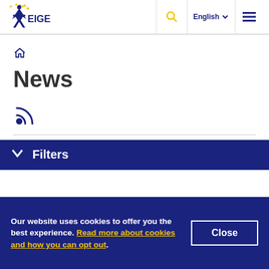EIGE — English — [Search] [Menu]
[Figure (logo): EIGE logo with EU stars and figure]
News
[Figure (other): RSS feed icon]
Filters
Our website uses cookies to offer you the best experience. Read more about cookies and how you can opt out.